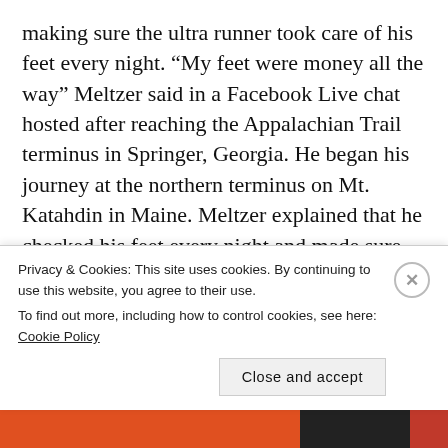making sure the ultra runner took care of his feet every night. “My feet were money all the way” Meltzer said in a Facebook Live chat hosted after reaching the Appalachian Trail terminus in Springer, Georgia. He began his journey at the northern terminus on Mt. Katahdin in Maine. Meltzer explained that he checked his feet every night and made sure his feet and lower legs were clean, even when he couldn’t shower for almost a month. “I had no blisters” Meltzer said, “Keeping your lower extremity good is really really important” he stressed during the on-line chat.
Privacy & Cookies: This site uses cookies. By continuing to use this website, you agree to their use.
To find out more, including how to control cookies, see here: Cookie Policy
Close and accept